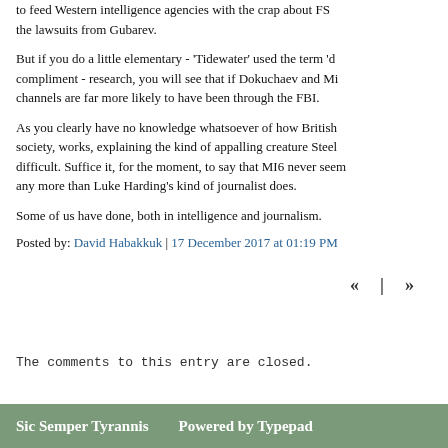to feed Western intelligence agencies with the crap about FS the lawsuits from Gubarev.
But if you do a little elementary - 'Tidewater' used the term 'd compliment - research, you will see that if Dokuchaev and Mi channels are far more likely to have been through the FBI.
As you clearly have no knowledge whatsoever of how British society, works, explaining the kind of appalling creature Steel difficult. Suffice it, for the moment, to say that MI6 never seem any more than Luke Harding's kind of journalist does.
Some of us have done, both in intelligence and journalism.
Posted by: David Habakkuk | 17 December 2017 at 01:19 PM
« | »
The comments to this entry are closed.
Sic Semper Tyrannis   Powered by Typepad